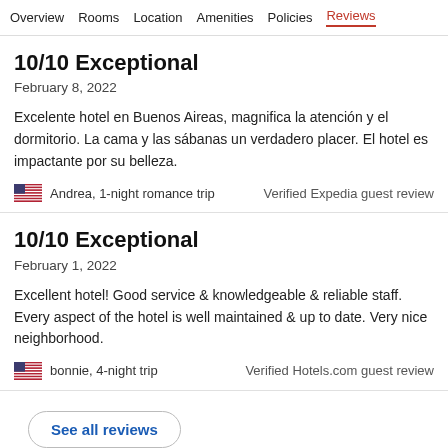Overview  Rooms  Location  Amenities  Policies  Reviews
10/10 Exceptional
February 8, 2022
Excelente hotel en Buenos Aireas, magnifica la atención y el dormitorio. La cama y las sábanas un verdadero placer. El hotel es impactante por su belleza.
Andrea, 1-night romance trip
Verified Expedia guest review
10/10 Exceptional
February 1, 2022
Excellent hotel! Good service & knowledgeable & reliable staff. Every aspect of the hotel is well maintained & up to date. Very nice neighborhood.
bonnie, 4-night trip
Verified Hotels.com guest review
See all reviews